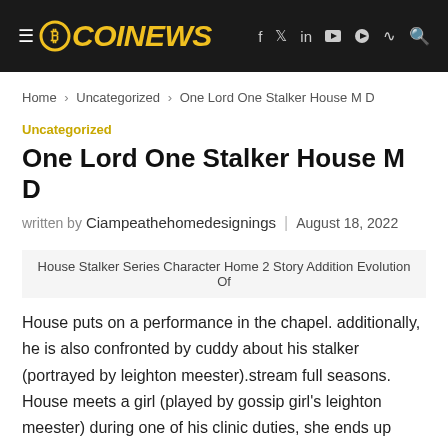COINEWS
Home > Uncategorized > One Lord One Stalker House M D
Uncategorized
One Lord One Stalker House M D
written by Ciampeathehomedesignings | August 18, 2022
House Stalker Series Character Home 2 Story Addition Evolution Of
House puts on a performance in the chapel. additionally, he is also confronted by cuddy about his stalker (portrayed by leighton meester).stream full seasons. House meets a girl (played by gossip girl's leighton meester) during one of his clinic duties, she ends up becoming obsessive and stalks him